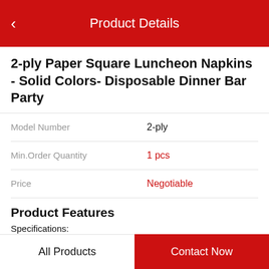Product Details
2-ply Paper Square Luncheon Napkins - Solid Colors- Disposable Dinner Bar Party
| Model Number | 2-ply |
| --- | --- |
| Min.Order Quantity | 1 pcs |
| Price | Negotiable |
Product Features
Specifications:
| Size | 117mm x 18mm |
| --- | --- |
All Products  Contact Now